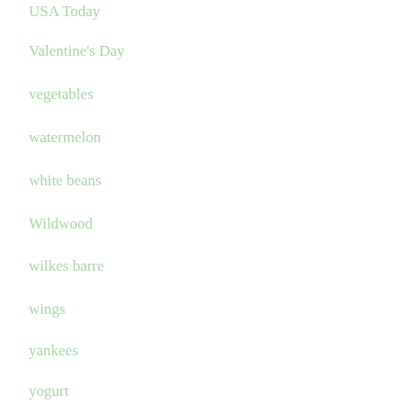USA Today
Valentine's Day
vegetables
watermelon
white beans
Wildwood
wilkes barre
wings
yankees
yogurt